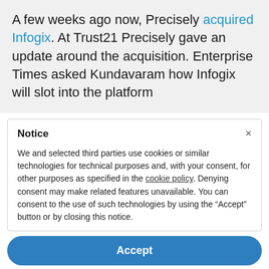A few weeks ago now, Precisely acquired Infogix. At Trust21 Precisely gave an update around the acquisition. Enterprise Times asked Kundavaram how Infogix will slot into the platform
Notice
We and selected third parties use cookies or similar technologies for technical purposes and, with your consent, for other purposes as specified in the cookie policy. Denying consent may make related features unavailable. You can consent to the use of such technologies by using the “Accept” button or by closing this notice.
Accept
Learn more and customise